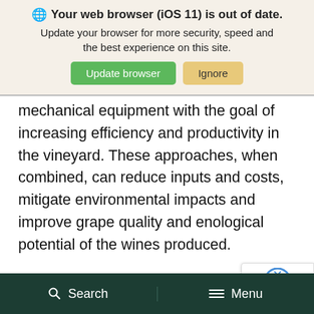[Figure (screenshot): Browser update notification banner with title 'Your web browser (iOS 11) is out of date.' subtitle 'Update your browser for more security, speed and the best experience on this site.' and two buttons: 'Update browser' (green) and 'Ignore' (tan/yellow)]
mechanical equipment with the goal of increasing efficiency and productivity in the vineyard. These approaches, when combined, can reduce inputs and costs, mitigate environmental impacts and improve grape quality and enological potential of the wines produced.
Precision viticulture technologies can capt spatial and temporal variability of vineyard vine health. High resolution data are integrated
Search   Menu